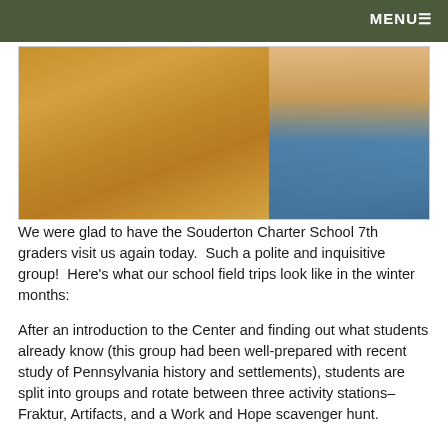MENU
[Figure (photo): Close-up photo of a wooden desk surface with a student in a blue sweater visible in the upper right corner]
We were glad to have the Souderton Charter School 7th graders visit us again today.  Such a polite and inquisitive group!  Here’s what our school field trips look like in the winter months:
After an introduction to the Center and finding out what students already know (this group had been well-prepared with recent study of Pennsylvania history and settlements), students are split into groups and rotate between three activity stations–Fraktur, Artifacts, and a Work and Hope scavenger hunt.